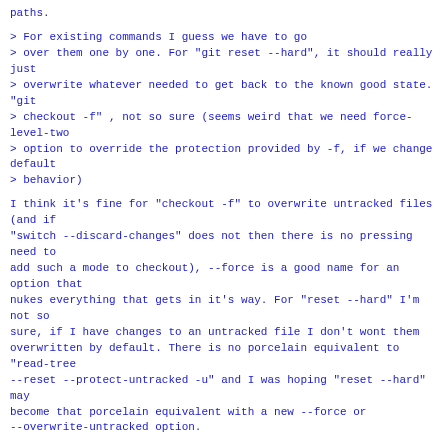paths.
> For existing commands I guess we have to go
> over them one by one. For "git reset --hard", it should really just
> overwrite whatever needed to get back to the known good state. "git
> checkout -f" , not so sure (seems weird that we need force-level-two
> option to override the protection provided by -f, if we change default
> behavior)
I think it's fine for "checkout -f" to overwrite untracked files (and if
"switch --discard-changes" does not then there is no pressing need to
add such a mode to checkout), --force is a good name for an option that
nukes everything that gets in it's way. For "reset --hard" I'm not so
sure, if I have changes to an untracked file I don't wont them
overwritten by default. There is no porcelain equivalent to "read-tree
--reset --protect-untracked -u" and I was hoping "reset --hard" may
become that porcelain equivalent with a new --force or --overwrite-untracked option.